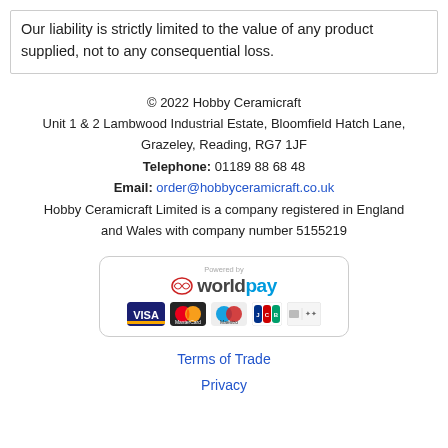Our liability is strictly limited to the value of any product supplied, not to any consequential loss.
© 2022 Hobby Ceramicraft
Unit 1 & 2 Lambwood Industrial Estate, Bloomfield Hatch Lane, Grazeley, Reading, RG7 1JF
Telephone: 01189 88 68 48
Email: order@hobbyceramicraft.co.uk
Hobby Ceramicraft Limited is a company registered in England and Wales with company number 5155219
[Figure (logo): Worldpay payment badge showing Worldpay logo and card logos: VISA, MasterCard, Maestro, JCB, and one other card]
Terms of Trade
Privacy